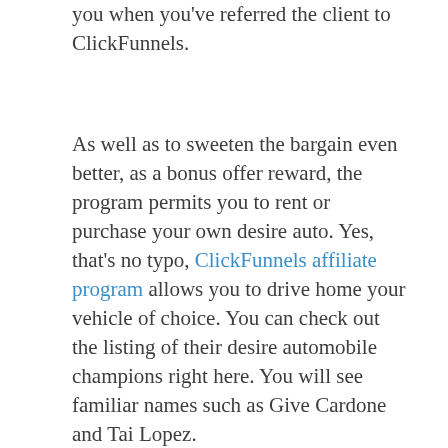you when you've referred the client to ClickFunnels.
As well as to sweeten the bargain even better, as a bonus offer reward, the program permits you to rent or purchase your own desire auto. Yes, that's no typo, ClickFunnels affiliate program allows you to drive home your vehicle of choice. You can check out the listing of their desire automobile champions right here. You will see familiar names such as Give Cardone and Tai Lopez.
Clickfunnels Associate Bootcamp
Clickfunnels has an exceptional training system they are presently handing out totally free! This aids new associate to advertise clickfunnels as